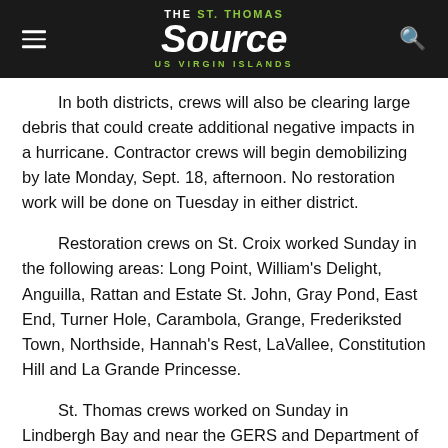THE St. Thomas SOURCE US VIRGIN ISLANDS
In both districts, crews will also be clearing large debris that could create additional negative impacts in a hurricane. Contractor crews will begin demobilizing by late Monday, Sept. 18, afternoon. No restoration work will be done on Tuesday in either district.
Restoration crews on St. Croix worked Sunday in the following areas: Long Point, William's Delight, Anguilla, Rattan and Estate St. John, Gray Pond, East End, Turner Hole, Carambola, Grange, Frederiksted Town, Northside, Hannah's Rest, LaVallee, Constitution Hill and La Grande Princesse.
St. Thomas crews worked on Sunday in Lindbergh Bay and near the GERS and Department of Justice complex. Clean-up